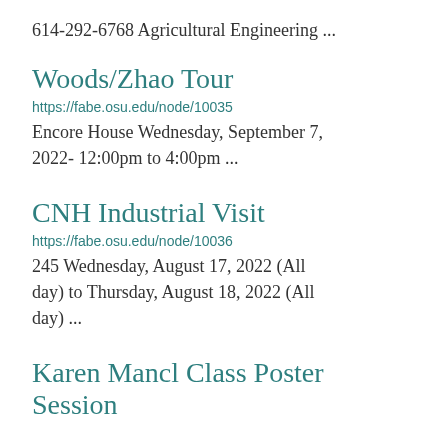614-292-6768 Agricultural Engineering ...
Woods/Zhao Tour
https://fabe.osu.edu/node/10035
Encore House Wednesday, September 7, 2022- 12:00pm to 4:00pm ...
CNH Industrial Visit
https://fabe.osu.edu/node/10036
245 Wednesday, August 17, 2022 (All day) to Thursday, August 18, 2022 (All day) ...
Karen Mancl Class Poster Session